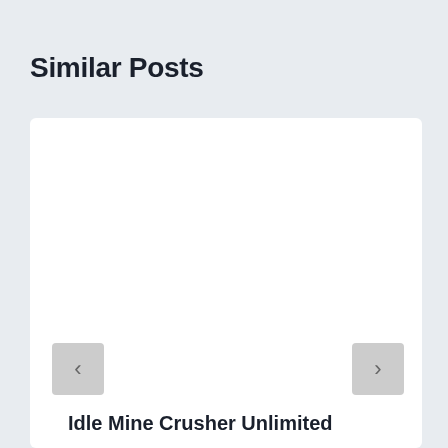Similar Posts
[Figure (screenshot): White card/carousel panel with left and right navigation arrow buttons (gray rounded rectangles). The panel is mostly white/blank in the upper area, with navigation arrows visible in the lower portion.]
Idle Mine Crusher Unlimited